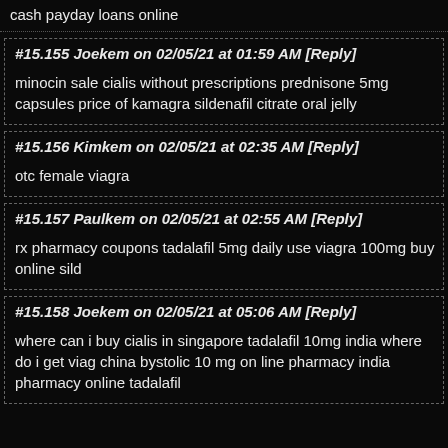cash payday loans online
#15.155 Joekem on 02/05/21 at 01:59 AM [Reply]
minocin sale cialis without prescriptions prednisone 5mg capsules price of kamagra sildenafil citrate oral jelly
#15.156 Kimkem on 02/05/21 at 02:35 AM [Reply]
otc female viagra
#15.157 Paulkem on 02/05/21 at 02:55 AM [Reply]
rx pharmacy coupons tadalafil 5mg daily use viagra 100mg buy online sild
#15.158 Joekem on 02/05/21 at 05:06 AM [Reply]
where can i buy cialis in singapore tadalafil 10mg india where do i get viag china bystolic 10 mg on line pharmacy india pharmacy online tadalafil